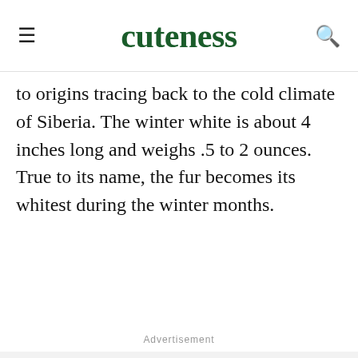cuteness
to origins tracing back to the cold climate of Siberia. The winter white is about 4 inches long and weighs .5 to 2 ounces. True to its name, the fur becomes its whitest during the winter months.
Advertisement